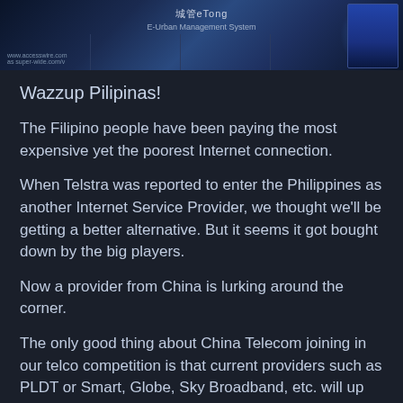[Figure (photo): Photo of a display/booth with Chinese text and English subtitle 'E-Urban Management System', with blue LED lighting and screens in the background.]
Wazzup Pilipinas!
The Filipino people have been paying the most expensive yet the poorest Internet connection.
When Telstra was reported to enter the Philippines as another Internet Service Provider, we thought we'll be getting a better alternative. But it seems it got bought down by the big players.
Now a provider from China is lurking around the corner.
The only good thing about China Telecom joining in our telco competition is that current providers such as PLDT or Smart, Globe, Sky Broadband, etc. will up their game.
Other internet providers from Australia, Japan, etc. have expressed their desire to setup shop here way earlier than